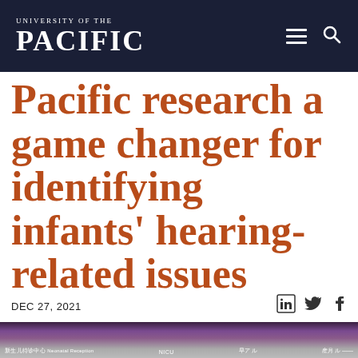UNIVERSITY OF THE PACIFIC
Pacific research a game changer for identifying infants' hearing-related issues
DEC 27, 2021
[Figure (photo): Photo of a hospital corridor with Chinese signage including NICU and other ward labels, with purple/pink accent lighting along the ceiling]